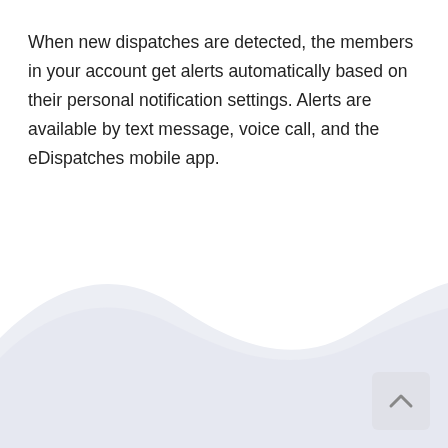When new dispatches are detected, the members in your account get alerts automatically based on their personal notification settings. Alerts are available by text message, voice call, and the eDispatches mobile app.
[Figure (illustration): Decorative light gray wave shape filling the bottom portion of the page, with a scroll-to-top button (chevron/caret icon) in the bottom-right corner.]